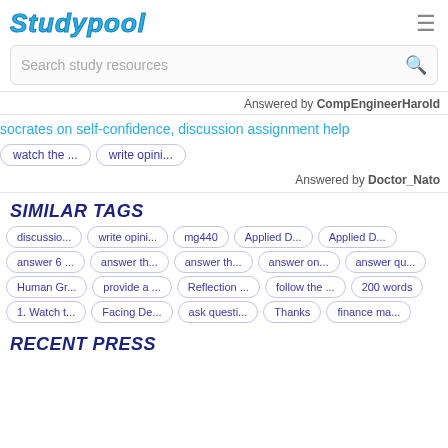[Figure (logo): Studypool logo in blue italic text]
Search study resources
Answered by CompEngineerHarold
socrates on self-confidence, discussion assignment help
watch the ...
write opini...
Answered by Doctor_Nato
SIMILAR TAGS
discussio...
write opini...
mg440
Applied D...
Applied D...
answer 6 ...
answer th...
answer th...
answer on...
answer qu...
Human Gr...
provide a ...
Reflection ...
follow the ...
200 words
1. Watch t...
Facing De...
ask questi...
Thanks
finance ma...
RECENT PRESS